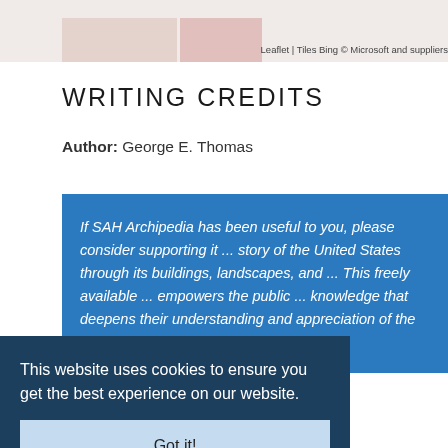[Figure (screenshot): Partial map view with colored blocks and attribution text: Leaflet | Tiles Bing © Microsoft and suppliers]
Leaflet | Tiles Bing © Microsoft and suppliers
WRITING CREDITS
Author: George E. Thomas
If SAH Archipedia has been useful to you, please consider supporting it ... story of the United States through its buildings, landscapes, and ... This freely available ... empowers the public ... knowledge that deepens their understanding and appreciation of the built environment. But the Society of
This website uses cookies to ensure you get the best experience on our website.
Got it!